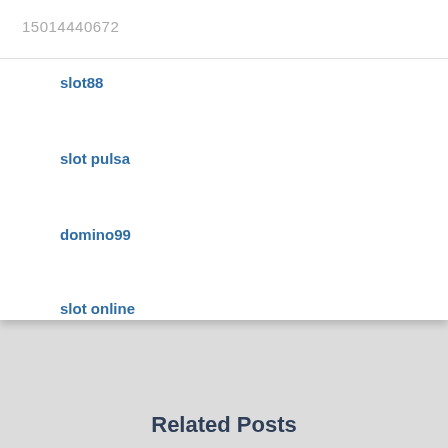15014440672
slot88
slot pulsa
domino99
slot online
Related Posts